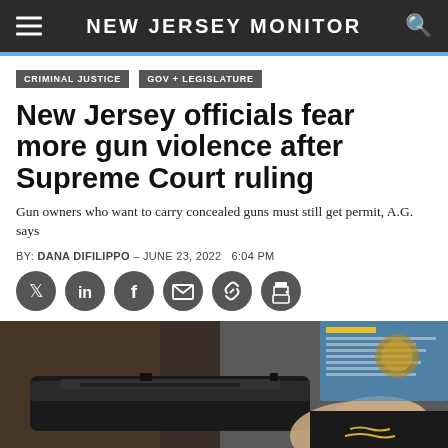NEW JERSEY MONITOR
CRIMINAL JUSTICE   GOV + LEGISLATURE
New Jersey officials fear more gun violence after Supreme Court ruling
Gun owners who want to carry concealed guns must still get permit, A.G. says
BY: DANA DIFILIPPO - JUNE 23, 2022   6:04 PM
[Figure (photo): Close-up photograph of a handgun being held, with blurred background showing a blue poster/document on the wall.]